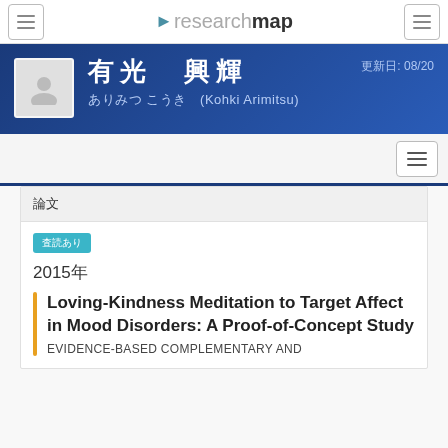researchmap
有光 興輝 (Kohki Arimitsu)
更新日: 08/20
論文
査読あり
2015年
Loving-Kindness Meditation to Target Affect in Mood Disorders: A Proof-of-Concept Study
EVIDENCE-BASED COMPLEMENTARY AND